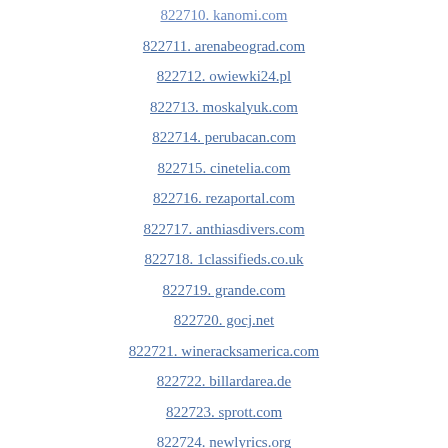822710. kanomi.com
822711. arenabeograd.com
822712. owiewki24.pl
822713. moskalyuk.com
822714. perubacan.com
822715. cinetelia.com
822716. rezaportal.com
822717. anthiasdivers.com
822718. 1classifieds.co.uk
822719. grande.com
822720. gocj.net
822721. wineracksamerica.com
822722. billardarea.de
822723. sprott.com
822724. newlyrics.org